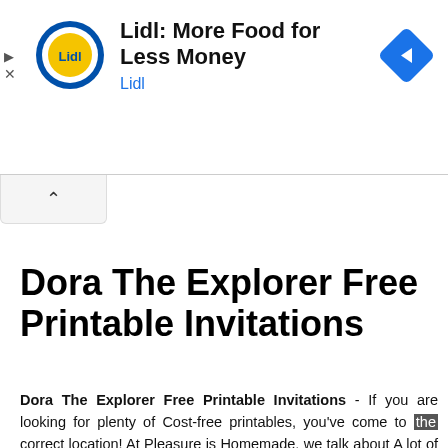[Figure (other): Lidl advertisement banner with Lidl logo circle, text 'Lidl: More Food for Less Money' and 'Lidl', and a blue diamond navigation icon. Play and close controls on the left edge.]
[Figure (other): Collapsed tab with a chevron-up arrow icon]
Dora The Explorer Free Printable Invitations
Dora The Explorer Free Printable Invitations - If you are looking for plenty of Cost-free printables, you've come to the correct location! At Pleasure is Homemade, we talk about A lot of free of charge printables for many occasions! We now have